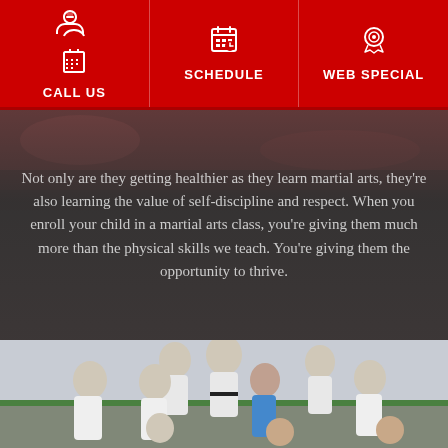CALL US | SCHEDULE | WEB SPECIAL
Not only are they getting healthier as they learn martial arts, they're also learning the value of self-discipline and respect. When you enroll your child in a martial arts class, you're giving them much more than the physical skills we teach. You're giving them the opportunity to thrive.
[Figure (photo): Group of children in white martial arts uniforms (gi) posing together in a dojo, with one older student wearing a black belt. Children are smiling and some are in fighting stances.]